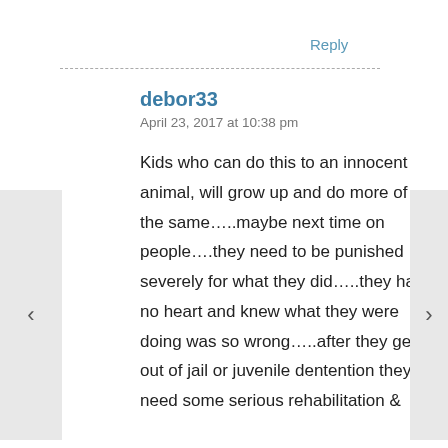Reply
debor33
April 23, 2017 at 10:38 pm
Kids who can do this to an innocent animal, will grow up and do more of the same…..maybe next time on people….they need to be punished severely for what they did…..they had no heart and knew what they were doing was so wrong…..after they get out of jail or juvenile dentention they need some serious rehabilitation &